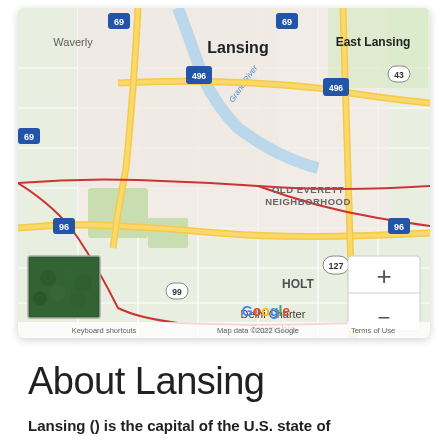[Figure (map): Google Maps screenshot showing Lansing, Michigan area with surrounding neighborhoods including East Lansing, Waverly, Old Everett Neighborhood, Holt, Delhi Charter Township. Major highways visible: I-69, I-496, I-96, M-127, M-43. Grand River labeled. Zoom controls (+/-) visible on right side. Map data ©2022 Google. Keyboard shortcuts and Terms of Use links at bottom. Small satellite image thumbnail in lower-left corner.]
About Lansing
Lansing () is the capital of the U.S. state of